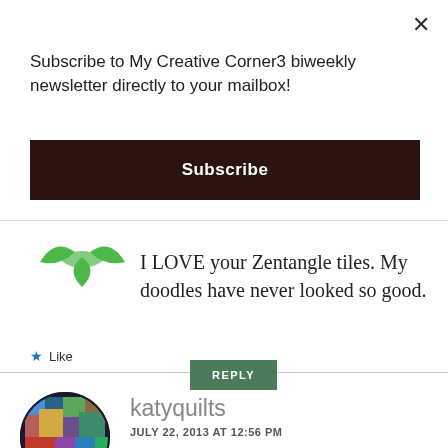Subscribe to My Creative Corner3 biweekly newsletter directly to your mailbox!
Subscribe
[Figure (logo): Green decorative icon with leaf/kite shapes]
I LOVE your Zentangle tiles. My doodles have never looked so good.
Like
REPLY
[Figure (photo): Circular avatar showing colorful stained glass quilt pattern]
katyquilts
JULY 22, 2013 AT 12:56 PM